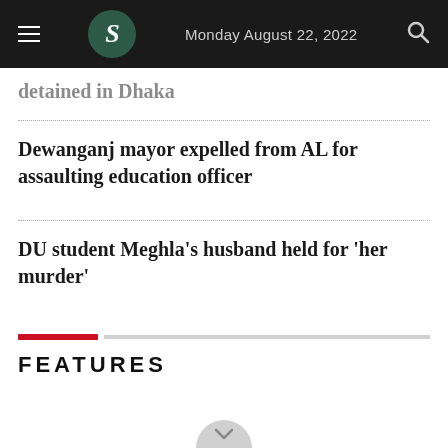Monday August 22, 2022
detained in Dhaka
Dewanganj mayor expelled from AL for assaulting education officer
DU student Meghla's husband held for 'her murder'
FEATURES